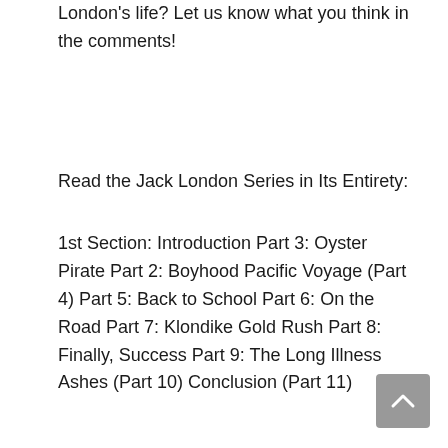London's life? Let us know what you think in the comments!
Read the Jack London Series in Its Entirety:
1st Section: Introduction Part 3: Oyster Pirate Part 2: Boyhood Pacific Voyage (Part 4) Part 5: Back to School Part 6: On the Road Part 7: Klondike Gold Rush Part 8: Finally, Success Part 9: The Long Illness Ashes (Part 10) Conclusion (Part 11)